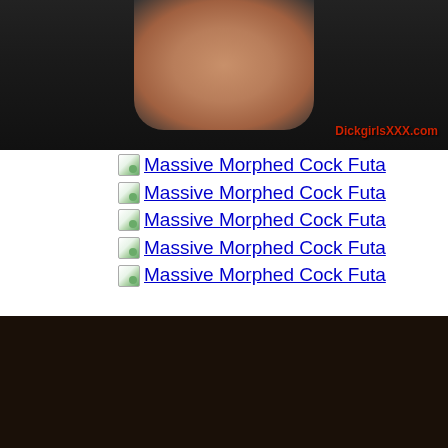[Figure (photo): Top cropped photo showing torso/legs area with dark background and red watermark text 'DickgirlsXXX.com']
Massive Morphed Cock Futa
Massive Morphed Cock Futa
Massive Morphed Cock Futa
Massive Morphed Cock Futa
Massive Morphed Cock Futa
[Figure (photo): 3D rendered dark-haired woman in a dark outfit looking down, set in an ornate room with large windows providing backlight]